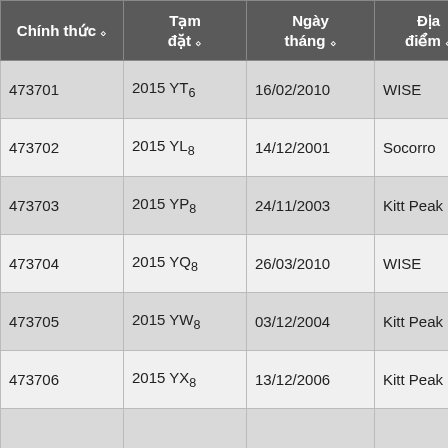| Chính thức | Tạm đặt | Ngày tháng | Địa điểm |  |
| --- | --- | --- | --- | --- |
| 473701 | 2015 YT6 | 16/02/2010 | WISE | W |
| 473702 | 2015 YL8 | 14/12/2001 | Socorro | L |
| 473703 | 2015 YP8 | 24/11/2003 | Kitt Peak | S |
| 473704 | 2015 YQ8 | 26/03/2010 | WISE | W |
| 473705 | 2015 YW8 | 03/12/2004 | Kitt Peak | S |
| 473706 | 2015 YX8 | 13/12/2006 | Kitt Peak | S |
|  |  |  |  | M |